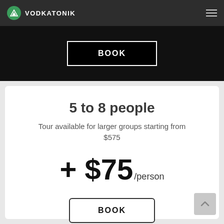VODKATONIK
BOOK
5 to 8 people
Tour available for larger groups starting from $575
+ $75/person
BOOK